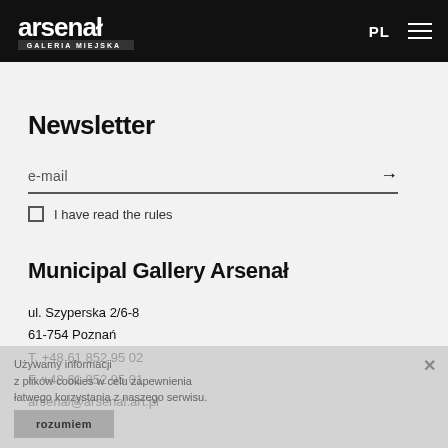arsenał Galeria Miejska | PL | Menu
Newsletter
e-mail
I have read the rules
Municipal Gallery Arsenał
ul. Szyperska 2/6-8
61-754 Poznań
T. +48 61 852 95 02
F. +48 61 852 95 01
arsenal@arsenal.art.pl